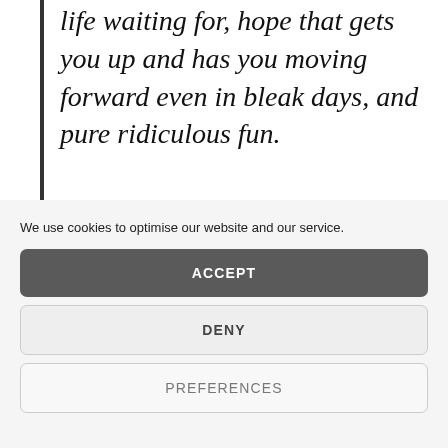life waiting for, hope that gets you up and has you moving forward even in bleak days, and pure ridiculous fun.
We use cookies to optimise our website and our service.
ACCEPT
DENY
PREFERENCES